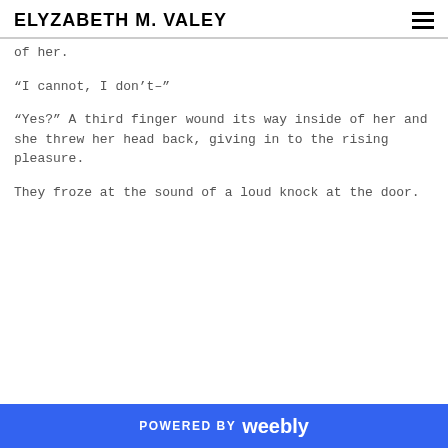ELYZABETH M. VALEY
of her.
“I cannot, I don’t–”
“Yes?” A third finger wound its way inside of her and she threw her head back, giving in to the rising pleasure.
They froze at the sound of a loud knock at the door.
POWERED BY weebly